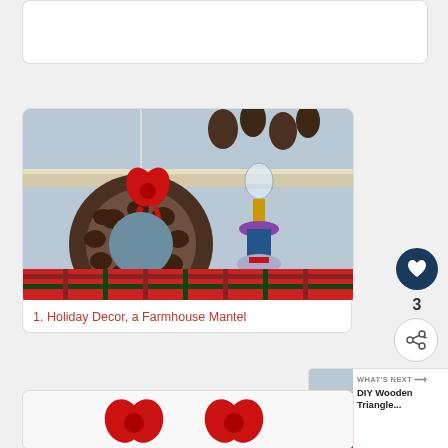[Figure (photo): Top white card (partially visible, cropped at top)]
[Figure (photo): Holiday farmhouse mantel photo showing a pinecone wreath with red bow, oil lamp with red ribbon, and plaid fabric]
1. Holiday Decor, a Farmhouse Mantel
[Figure (photo): Partially visible second card showing red bows on white background]
[Figure (other): Heart/like button (dark navy circle with white heart icon)]
3
[Figure (other): Share button (white circle with share icon)]
[Figure (other): WHAT'S NEXT banner showing DIY Wooden Triangle... with thumbnail]